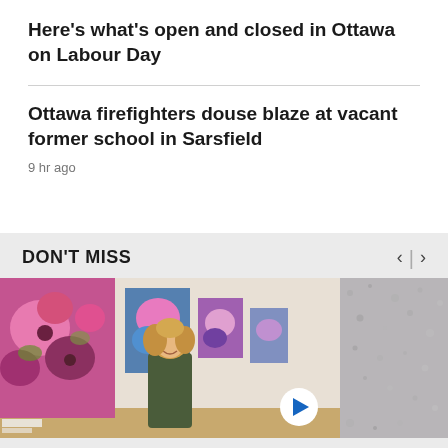Here's what's open and closed in Ottawa on Labour Day
Ottawa firefighters douse blaze at vacant former school in Sarsfield
9 hr ago
DON'T MISS
[Figure (photo): Woman standing in an art gallery in front of colorful floral paintings]
[Figure (photo): Partially visible grey/textured surface, cropped at right edge]